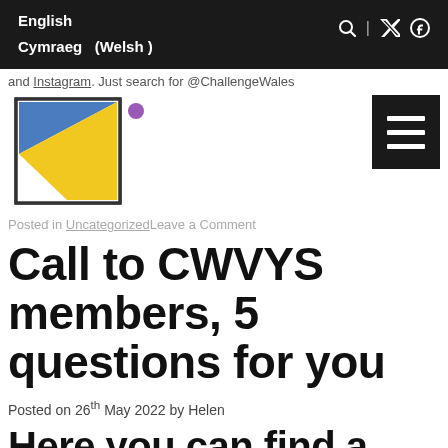English
Cymraeg  (Welsh )
and Instagram. Just search for @ChallengeWales
[Figure (logo): CWVYS logo: a square frame with geometric shapes (blue triangle top-left, white triangle bottom-left, yellow triangle bottom-right, dark triangle right) and a purple dot top-right]
[Figure (other): Hamburger menu icon: black rectangle with three white horizontal bars]
Posted in UncategorizedLeave a Comment
Call to CWVYS members, 5 questions for you
Posted on 26th May 2022 by Helen
Here you can find a message